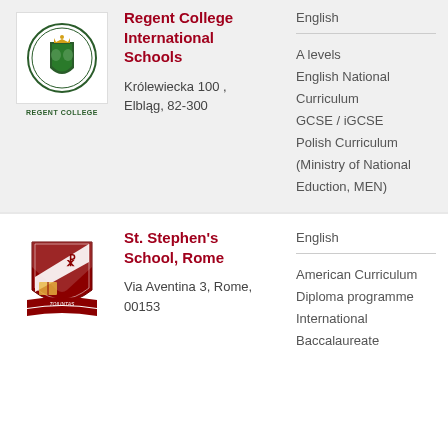[Figure (logo): Regent College International Schools crest logo with circular text and REGENT COLLEGE label below]
Regent College International Schools
Królewiecka 100 , Elbląg, 82-300
English
A levels
English National Curriculum
GCSE / iGCSE
Polish Curriculum (Ministry of National Eduction, MEN)
[Figure (logo): St. Stephen's School Rome shield crest logo with diagonal stripe and motto banners]
St. Stephen's School, Rome
Via Aventina 3, Rome, 00153
English
American Curriculum
Diploma programme
International Baccalaureate